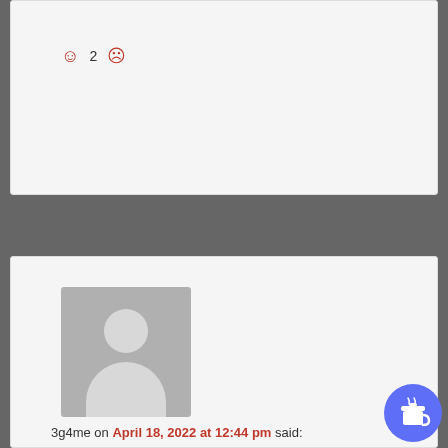☺ 2 ☹
3g4me on April 18, 2022 at 12:44 pm said:
Related and worth a read:
https://kunstler.com/clusterfuck-nation/thralldom-and-its-uses/
“We are lately in thrall to the melodrama in Ukraine, largely engineered by figures and forces in our own government and for their own ends, which look suspiciously at odds with the nation’s actual interests (the nation being us, its people). Perhaps this illustrates the widening gulf between